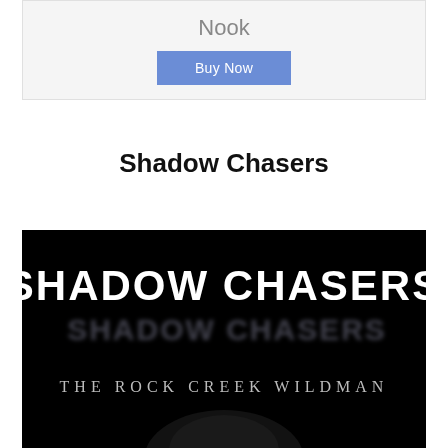Nook
[Figure (other): Buy Now button with blue background]
Shadow Chasers
[Figure (illustration): Book cover for Shadow Chasers: The Rock Creek Wildman. Black background with stylized horror-font title text 'SHADOW CHASERS' in white, a ghostly/blurred reflection of the title beneath it, and subtitle 'THE ROCK CREEK WILDMAN' in serif uppercase letters. A face or figure partially visible at the bottom.]